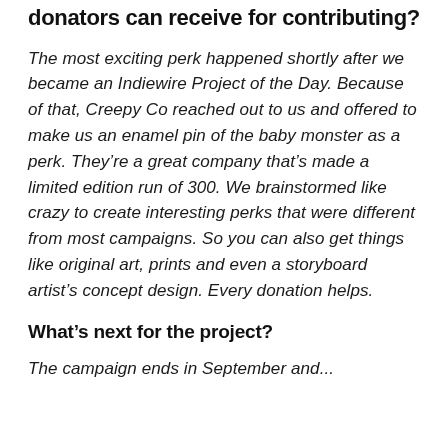donators can receive for contributing?
The most exciting perk happened shortly after we became an Indiewire Project of the Day. Because of that, Creepy Co reached out to us and offered to make us an enamel pin of the baby monster as a perk. They’re a great company that’s made a limited edition run of 300. We brainstormed like crazy to create interesting perks that were different from most campaigns. So you can also get things like original art, prints and even a storyboard artist’s concept design. Every donation helps.
What’s next for the project?
The campaign ends in September and...